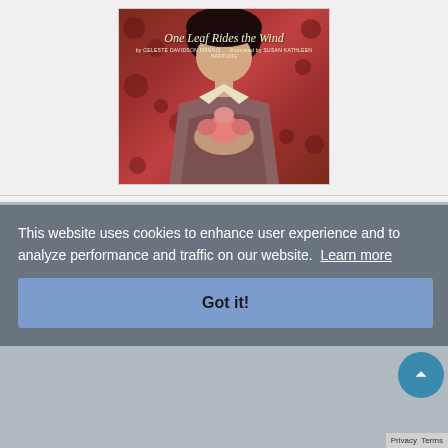[Figure (illustration): Book cover of 'One Leaf Rides the Wind' showing a young girl in traditional Japanese clothing holding lotus flowers, with a decorative red and maroon background with polka dots. Text on cover reads 'One Leaf Rides the Wind' by Celeste Davidson Mannis, illustrated by Susan Kathleen Hartung.]
This website uses cookies to enhance user experience and to analyze performance and traffic on our website. Learn more
Got it!
ONE LEAF RIDES THE WIND